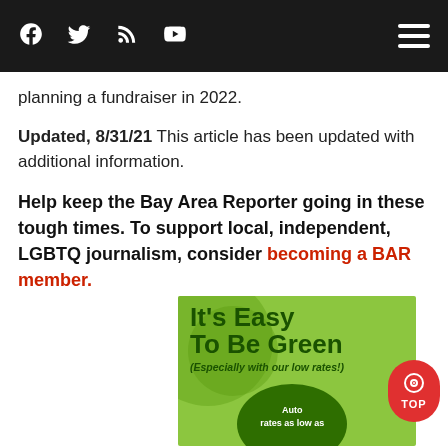Navigation bar with social media icons (Facebook, Twitter, RSS, YouTube) and hamburger menu
planning a fundraiser in 2022.
Updated, 8/31/21 This article has been updated with additional information.
Help keep the Bay Area Reporter going in these tough times. To support local, independent, LGBTQ journalism, consider becoming a BAR member.
[Figure (illustration): Green advertisement banner reading 'It’s Easy To Be Green (Especially with our low rates!)' with auto rates circle]